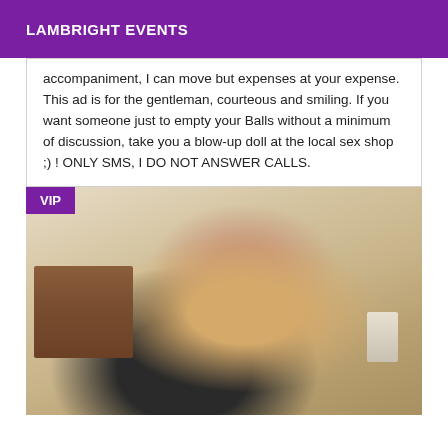LAMBRIGHT EVENTS
accompaniment, I can move but expenses at your expense. This ad is for the gentleman, courteous and smiling. If you want someone just to empty your Balls without a minimum of discussion, take you a blow-up doll at the local sex shop ;) ! ONLY SMS, I DO NOT ANSWER CALLS.
[Figure (photo): Photo of a young woman with long dark hair wearing a black outfit, lying on a white couch/sofa in a bedroom setting. A wooden dresser is visible in the background along with a bedside lamp. A VIP badge is overlaid in the top-left corner.]